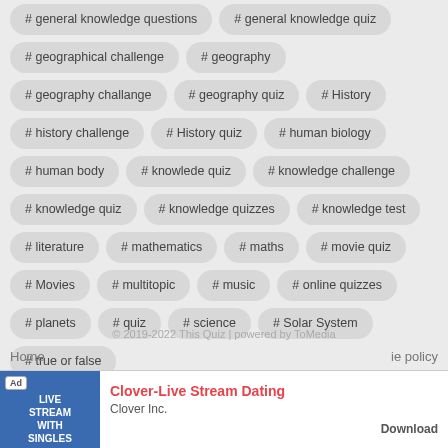# general knowledge questions
# general knowledge quiz
# geographical challenge
# geography
# geography challange
# geography quiz
# History
# history challenge
# History quiz
# human biology
# human body
# knowlede quiz
# knowledge challenge
# knowledge quiz
# knowledge quizzes
# knowledge test
# literature
# mathematics
# maths
# movie quiz
# Movies
# multitopic
# music
# online quizzes
# planets
# quiz
# science
# Solar System
# true or false
© 2019-2022 This Quiz | powered by ToMedia
Home   cookie policy